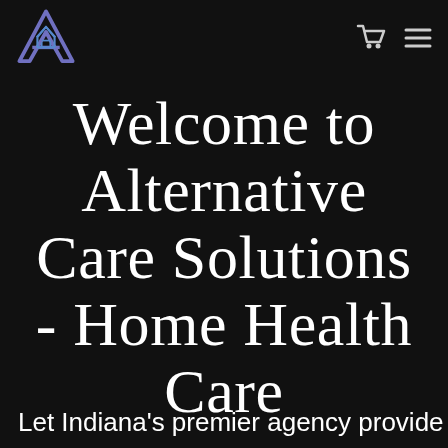[Figure (logo): Stylized letter A with house icon in purple/blue tones, logo for Alternative Care Solutions]
Welcome to Alternative Care Solutions - Home Health Care
Let Indiana's premier agency provide